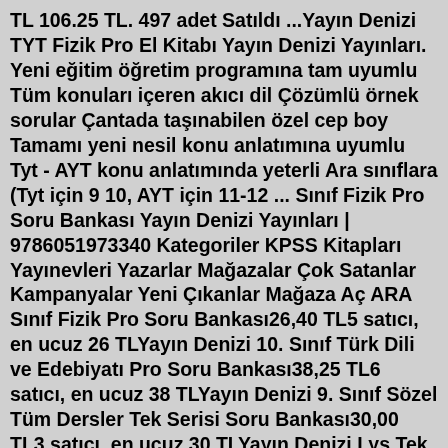TL 106.25 TL. 497 adet Satıldı ...Yayın Denizi TYT Fizik Pro El Kitabı Yayın Denizi Yayınları. Yeni eğitim öğretim programına tam uyumlu Tüm konuları içeren akıcı dil Çözümlü örnek sorular Çantada taşınabilen özel cep boy Tamamı yeni nesil konu anlatımına uyumlu Tyt - AYT konu anlatımında yeterli Ara sınıflara (Tyt için 9 10, AYT için 11-12 ... Sınıf Fizik Pro Soru Bankası Yayın Denizi Yayınları | 9786051973340 Kategoriler KPSS Kitapları Yayınevleri Yazarlar Mağazalar Çok Satanlar Kampanyalar Yeni Çıkanlar Mağaza Aç ARA Sınıf Fizik Pro Soru Bankası26,40 TL5 satıcı, en ucuz 26 TLYayın Denizi 10. Sınıf Türk Dili ve Edebiyatı Pro Soru Bankası38,25 TL6 satıcı, en ucuz 38 TLYayın Denizi 9. Sınıf Sözel Tüm Dersler Tek Serisi Soru Bankası30,00 TL3 satıcı, en ucuz 30 TLYayın Denizi Lys Tek Kimya Soru Bankası 2017 Yayın Denizi /49,90 TL1 ...10. Sınıf Fizik Dalgalar Çözümlü Sorular PDF testi içerisinde yer alan soru çözümleri aşağıda listelenmiş konuları içermektedir. ... Yazıt Yayınları Yazıt Yayınları 10. Sınıf Tarih Soru Kitabı